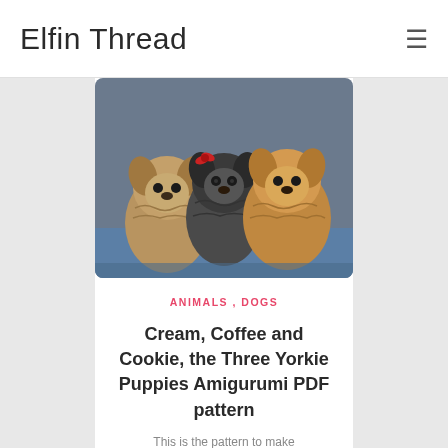Elfin Thread
[Figure (photo): Three Yorkie puppy amigurumi crochet toys photographed together — one cream/tan on the left, one dark grey/black in the center, one golden/tan on the right, sitting against a blue background]
ANIMALS , DOGS
Cream, Coffee and Cookie, the Three Yorkie Puppies Amigurumi PDF pattern
This is the pattern to make